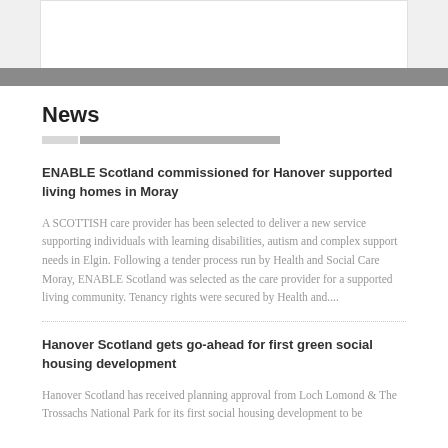News
ENABLE Scotland commissioned for Hanover supported living homes in Moray
A SCOTTISH care provider has been selected to deliver a new service supporting individuals with learning disabilities, autism and complex support needs in Elgin. Following a tender process run by Health and Social Care Moray, ENABLE Scotland was selected as the care provider for a supported living community. Tenancy rights were secured by Health and....
Hanover Scotland gets go-ahead for first green social housing development
Hanover Scotland has received planning approval from Loch Lomond & The Trossachs National Park for its first social housing development to be